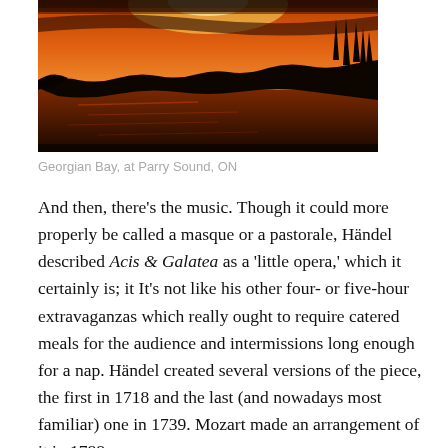[Figure (photo): Sunset over Georgian Bay at Parry Sound, Ontario — dark silhouettes of trees and shoreline against an orange and red sky reflected in calm water.]
Georgian Bay, at Parry Sound, ON
And then, there's the music. Though it could more properly be called a masque or a pastorale, Händel described Acis & Galatea as a 'little opera,' which it certainly is; it It's not like his other four- or five-hour extravaganzas which really ought to require catered meals for the audience and intermissions long enough for a nap. Händel created several versions of the piece, the first in 1718 and the last (and nowadays most familiar) one in 1739. Mozart made an arrangement of it in 1788.
A&G is a bit truncated, a two-act Reader's Digest rendering of the myth in which a shepherd named Acis